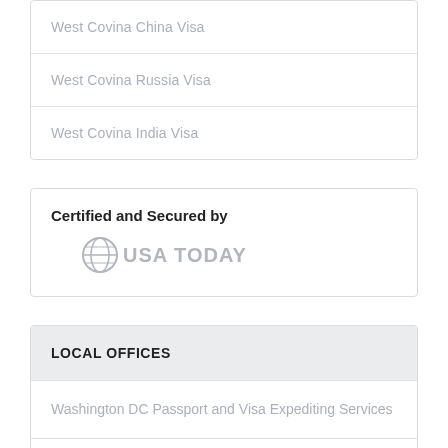West Covina China Visa
West Covina Russia Visa
West Covina India Visa
Certified and Secured by
[Figure (logo): USA TODAY logo in grey]
LOCAL OFFICES
Washington DC Passport and Visa Expediting Services
Miami Passport and Visa Services